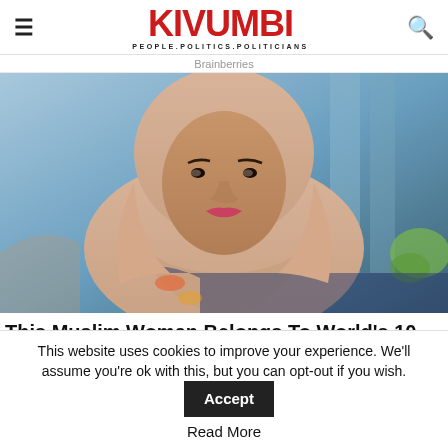KIVUMBI — PEOPLE.POLITICS.POLITICIANS
Brainberries
[Figure (photo): A young Muslim woman wearing a beige/pink hijab, seated, looking toward camera. Blue blurred background.]
This Muslim Woman Belongs To World's 10 Strongest Women
This website uses cookies to improve your experience. We'll assume you're ok with this, but you can opt-out if you wish.
Accept
Read More